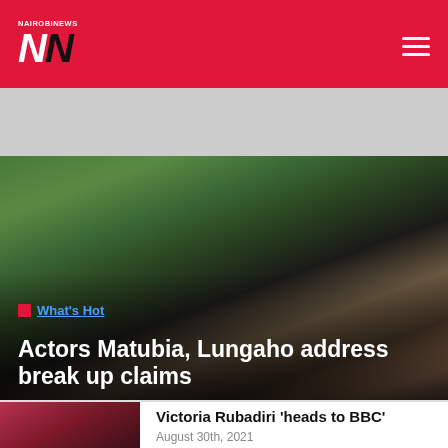NAIROBI NEWS
[Figure (photo): Group of actors on a film set outdoors with equipment, overlaid with headline text. Tag reads What's Hot. Headline: Actors Matubia, Lungaho address break up claims]
Actors Matubia, Lungaho address break up claims
[Figure (photo): Two people smiling, woman in red outfit, man beside her]
Victoria Rubadiri 'heads to BBC'
August 30th, 2021